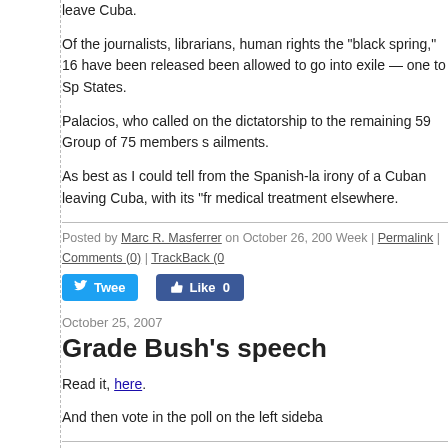Of the journalists, librarians, human rights the "black spring," 16 have been released been allowed to go into exile — one to Sp States.
Palacios, who called on the dictatorship to the remaining 59 Group of 75 members s ailments.
As best as I could tell from the Spanish-la irony of a Cuban leaving Cuba, with its "fr medical treatment elsewhere.
Posted by Marc R. Masferrer on October 26, 200 Week | Permalink | Comments (0) | TrackBack (0
October 25, 2007
Grade Bush's speech
Read it, here.
And then vote in the poll on the left sideba
Posted by Marc R. Masferrer on October 25, 200 TrackBack (0)